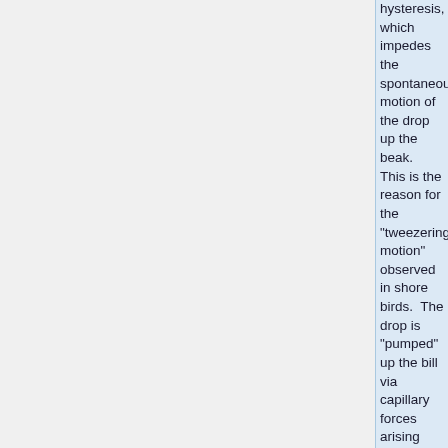hysteresis, which impedes the spontaneous motion of the drop up the beak.  This is the reason for the "tweezering motion" observed in shore birds.  The drop is "pumped" up the bill via capillary forces arising from the difference in advancing and receding contact angles.  To simulate this circumstance, a